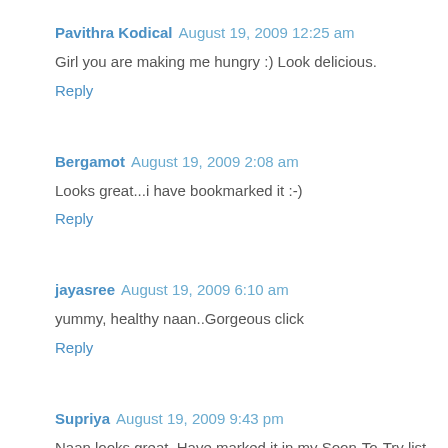Pavithra Kodical  August 19, 2009 12:25 am
Girl you are making me hungry :) Look delicious.
Reply
Bergamot  August 19, 2009 2:08 am
Looks great...i have bookmarked it :-)
Reply
jayasree  August 19, 2009 6:10 am
yummy, healthy naan..Gorgeous click
Reply
Supriya  August 19, 2009 9:43 pm
Naan looks great. Have marked it in my Soon-To-Try list :)